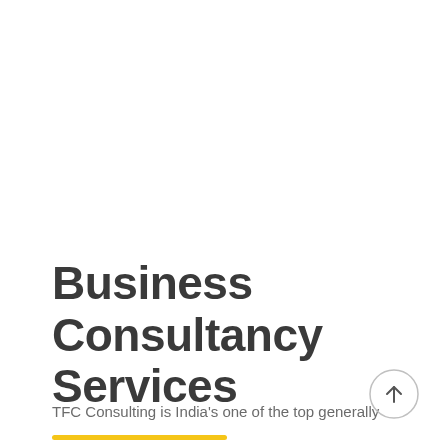Business Consultancy Services
TFC Consulting is India's one of the top generally